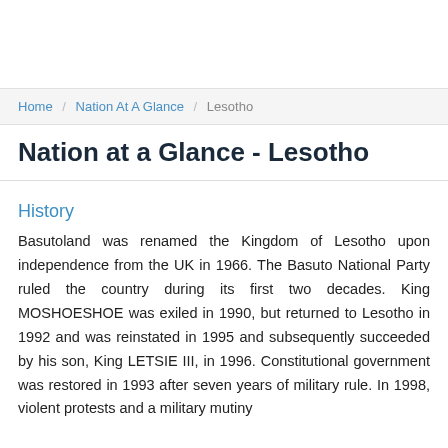Home / Nation At A Glance / Lesotho
Nation at a Glance - Lesotho
History
Basutoland was renamed the Kingdom of Lesotho upon independence from the UK in 1966. The Basuto National Party ruled the country during its first two decades. King MOSHOESHOE was exiled in 1990, but returned to Lesotho in 1992 and was reinstated in 1995 and subsequently succeeded by his son, King LETSIE III, in 1996. Constitutional government was restored in 1993 after seven years of military rule. In 1998, violent protests and a military mutiny